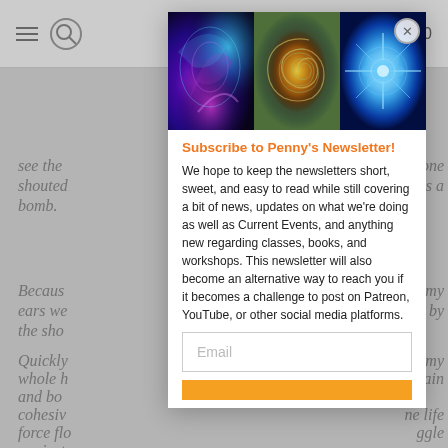Navigation bar with hamburger menu, search, cart icon, and count 0
see the
one
shoutec
t was a
bomb.
Becaus
my
ears we
lled by
the sho
Quickly
my
whole h
ain
and bo
cohesiv
ne life
force flo
ggle
against
Next th
began
[Figure (photo): Three-panel banner image: left panel shows colorful fractal/plasma art in blue and purple, center panel shows a blue/gold spiral pattern (nautilus/galaxy), right panel shows blue crystalline snowflake-like fractal structure]
Subscribe to Penny's Newsletter!
We hope to keep the newsletters short, sweet, and easy to read while still covering a bit of news, updates on what we're doing as well as Current Events, and anything new regarding classes, books, and workshops. This newsletter will also become an alternative way to reach you if it becomes a challenge to post on Patreon, YouTube, or other social media platforms.
Email
(Subscribe button - partially visible)